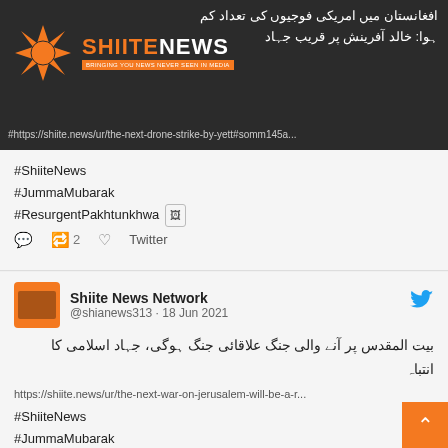ShiiteNews header with logo and Urdu text
#ShiiteNews
#JummaMubarak
#ResurgentPakhtunkhwa
retweet 2 · Twitter
Shiite News Network @shianews313 · 18 Jun 2021
بیت المقدس پر آنے والی جنگ علاقائی جنگ ہوگی، جہاد اسلامی کا انتباہ
https://shiite.news/ur/the-next-war-on-jerusalem-will-be-a-r...
#ShiiteNews
#JummaMubarak
#ResurgentPakhtunkhwa
retweet 1 · Twitter